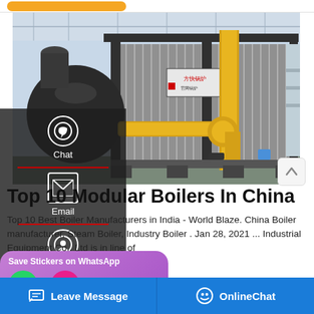[Figure (photo): Industrial modular boiler installation in a factory, showing large cylindrical boiler with yellow gas pipes and corrugated metal cladding. Chat, Email, and Contact sidebar overlaid on left side.]
Top 10 Modular Boilers In China
Top 10 Best Boiler Manufacturers in India - World Blaze. China Boiler manufacturer, Steam Boiler, Industry Boiler . Jan 28, 2021 ... Industrial Equipment Co., Ltd is in line of
[Figure (screenshot): Save Stickers on WhatsApp popup with green phone icon and pink emoji icon]
Leave Message   OnlineChat